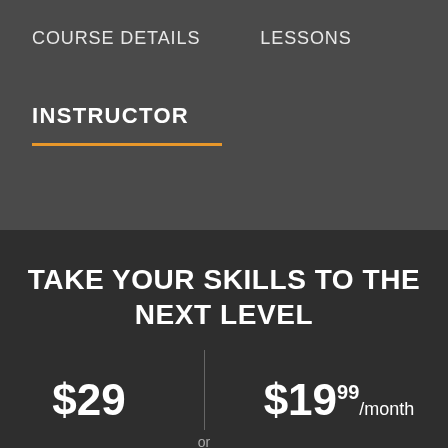COURSE DETAILS   LESSONS
INSTRUCTOR
TAKE YOUR SKILLS TO THE NEXT LEVEL
$29 | $19.99/month or
BUY COURSE   JOIN NOW